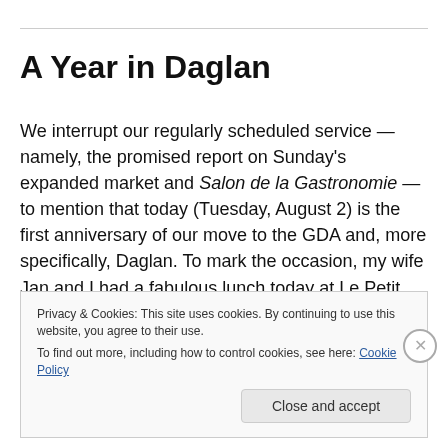A Year in Daglan
We interrupt our regularly scheduled service — namely, the promised report on Sunday's expanded market and Salon de la Gastronomie — to mention that today (Tuesday, August 2) is the first anniversary of our move to the GDA and, more specifically, Daglan. To mark the occasion, my wife Jan and I had a fabulous lunch today at Le Petit Paris.
Privacy & Cookies: This site uses cookies. By continuing to use this website, you agree to their use.
To find out more, including how to control cookies, see here: Cookie Policy